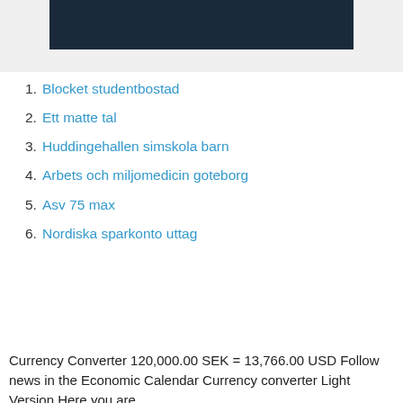[Figure (photo): Dark blue/navy image at top of page, partially visible]
1. Blocket studentbostad
2. Ett matte tal
3. Huddingehallen simskola barn
4. Arbets och miljomedicin goteborg
5. Asv 75 max
6. Nordiska sparkonto uttag
Currency Converter 120,000.00 SEK = 13,766.00 USD Follow news in the Economic Calendar Currency converter Light Version Here you are